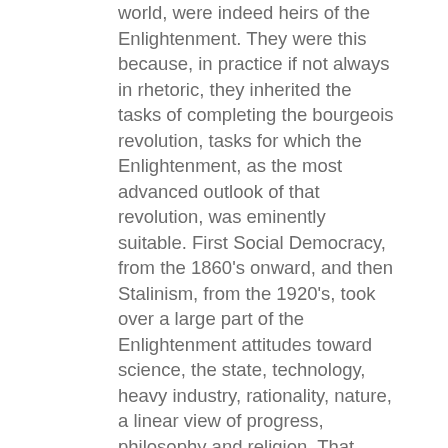world, were indeed heirs of the Enlightenment. They were this because, in practice if not always in rhetoric, they inherited the tasks of completing the bourgeois revolution, tasks for which the Enlightenment, as the most advanced outlook of that revolution, was eminently suitable. First Social Democracy, from the 1860's onward, and then Stalinism, from the 1920's, took over a large part of the Enlightenment attitudes toward science, the state, technology, heavy industry, rationality, nature, a linear view of progress, philosophy and religion. That view was at bottom atomistic and mechanistic, even when dressed up as "dialectical materialism". Their statist development ideology and strategy was most successful in countries where no liberal bourgeoisie was strong enough to fight in its own name for the Enlightenment program against pre-capitalist social relations. Social Democracy and later Stalinism took over the full weight of Enlightenment statism of the continental variety. This was not surprising, since they gained influence mainly in those areas where the pre-capitalist